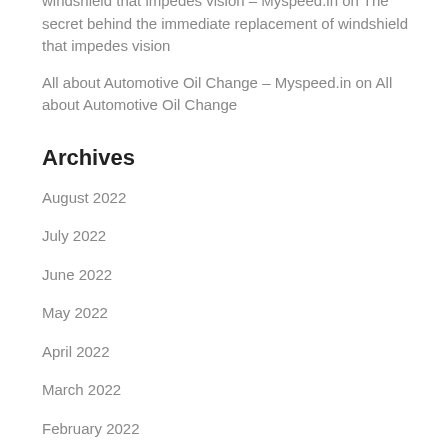windshield that impedes vision – Myspeed.in on The secret behind the immediate replacement of windshield that impedes vision
All about Automotive Oil Change – Myspeed.in on All about Automotive Oil Change
Archives
August 2022
July 2022
June 2022
May 2022
April 2022
March 2022
February 2022
January 2022
December 2021